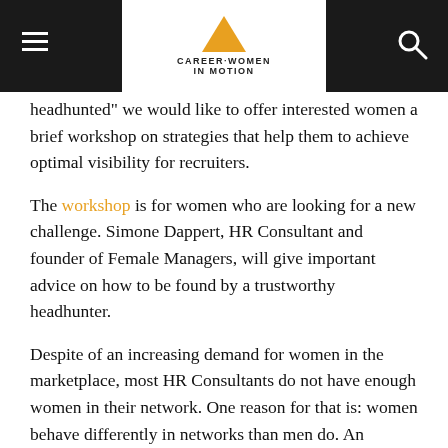Career Women in Motion
headhunted" we would like to offer interested women a brief workshop on strategies that help them to achieve optimal visibility for recruiters.
The workshop is for women who are looking for a new challenge. Simone Dappert, HR Consultant and founder of Female Managers, will give important advice on how to be found by a trustworthy headhunter.
Despite of an increasing demand for women in the marketplace, most HR Consultants do not have enough women in their network. One reason for that is: women behave differently in networks than men do. An internal survey of Female Managers found out that women have a higher demand for data security, confidentiality and quality standards.